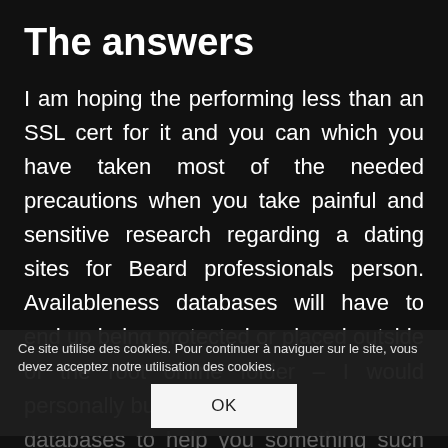The answers
I am hoping the performing less than an SSL cert for it and you can which you have taken most of the needed precautions when you take painful and sensitive research regarding a dating sites for Beard professionals person. Availableness databases will have to end up being protected or placed outside of the root online folder – I would personally button databases to help you something such as MySQL where you could handle associate availability. If you might be available to specific very heavy fees and
Ce site utilise des cookies. Pour continuer à naviguer sur le site, vous devez acceptez notre utilisation des cookies.
OK